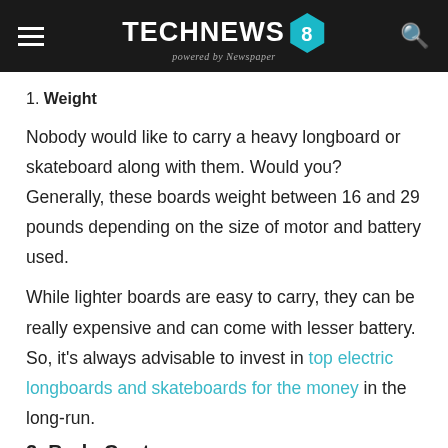TECHNEWS 8 powered by Newspaper
1. Weight
Nobody would like to carry a heavy longboard or skateboard along with them. Would you? Generally, these boards weight between 16 and 29 pounds depending on the size of motor and battery used.
While lighter boards are easy to carry, they can be really expensive and can come with lesser battery. So, it's always advisable to invest in top electric longboards and skateboards for the money in the long-run.
2. Body Cont...